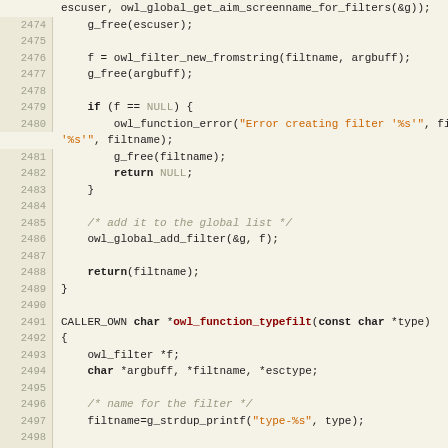[Figure (screenshot): Source code listing showing C code lines 2474-2503 with syntax highlighting. Line numbers in left gutter, code with keywords in bold, strings in orange, comments in gray/italic, special identifiers in dark red.]